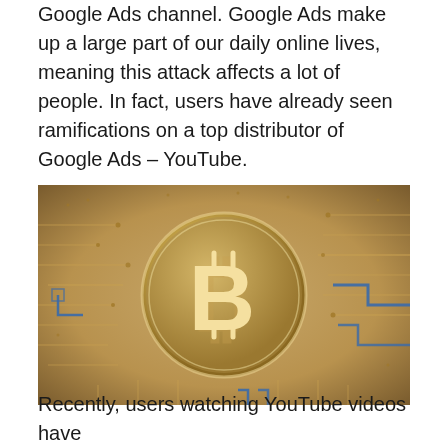Google Ads channel. Google Ads make up a large part of our daily online lives, meaning this attack affects a lot of people. In fact, users have already seen ramifications on a top distributor of Google Ads – YouTube.
[Figure (illustration): A golden Bitcoin coin with the Bitcoin 'B' symbol centered on a circuit board background with blue circuit traces radiating outward.]
Recently, users watching YouTube videos have